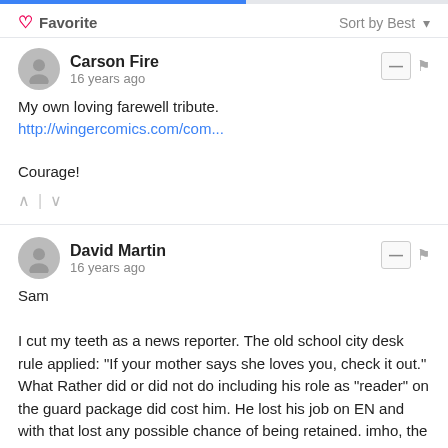Favorite | Sort by Best
Carson Fire
16 years ago
My own loving farewell tribute.
http://wingercomics.com/com...

Courage!
David Martin
16 years ago
Sam

I cut my teeth as a news reporter. The old school city desk rule applied: "If your mother says she loves you, check it out." What Rather did or did not do including his role as "reader" on the guard package did cost him. He lost his job on EN and with that lost any possible chance of being retained. imho, the guard incident, nor any cumulative megolomania, does not rise to sanction the brutally cold outcome of his ending, consider his stature and A as a ...